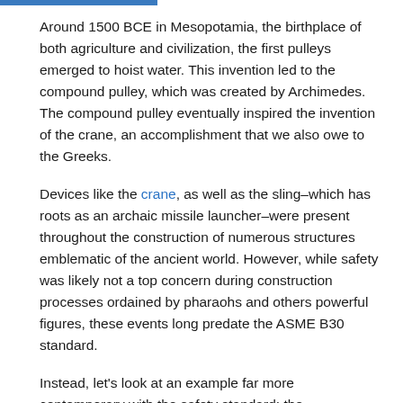Around 1500 BCE in Mesopotamia, the birthplace of both agriculture and civilization, the first pulleys emerged to hoist water. This invention led to the compound pulley, which was created by Archimedes. The compound pulley eventually inspired the invention of the crane, an accomplishment that we also owe to the Greeks.
Devices like the crane, as well as the sling–which has roots as an archaic missile launcher–were present throughout the construction of numerous structures emblematic of the ancient world. However, while safety was likely not a top concern during construction processes ordained by pharaohs and others powerful figures, these events long predate the ASME B30 standard.
Instead, let's look at an example far more contemporary with the safety standard: the construction of the Brooklyn Bridge. This suspension bridge, then the longest in the world, was